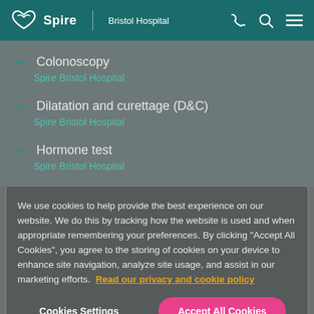Spire | Bristol Hospital
Colonoscopy
Spire Bristol Hospital
Dilatation and curettage (D&C)
Spire Bristol Hospital
Hormone test
Spire Bristol Hospital
We use cookies to help provide the best experience on our website. We do this by tracking how the website is used and when appropriate remembering your preferences. By clicking "Accept All Cookies", you agree to the storing of cookies on your device to enhance site navigation, analyze site usage, and assist in our marketing efforts. Read our privacy and cookie policy
Cookies Settings | Accept All Cookies